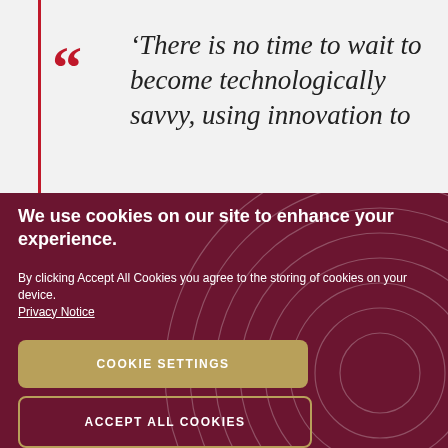'There is no time to wait to become technologically savvy, using innovation to
We use cookies on our site to enhance your experience.
By clicking Accept All Cookies you agree to the storing of cookies on your device. Privacy Notice
COOKIE SETTINGS
ACCEPT ALL COOKIES